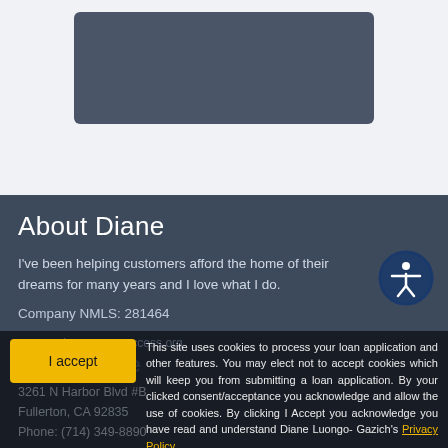[Figure (photo): Dark blue-gray rectangular image placeholder at the top of the page]
About Diane
I've been helping customers afford the home of their dreams for many years and I love what I do.
Company NMLS: 281464
www.nmlsconsumeraccess.org
Contact Me
3261 N Harbor Blvd #B
Fullerton, CA 92835
Phone: (714) 349-8890
This site uses cookies to process your loan application and other features. You may elect not to accept cookies which will keep you from submitting a loan application. By your clicked consent/acceptance you acknowledge and allow the use of cookies. By clicking I Accept you acknowledge you have read and understand Diane Luongo- Gazich's Privacy Policy.